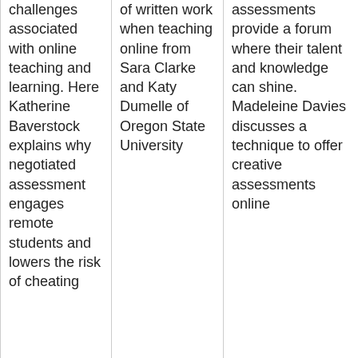challenges associated with online teaching and learning. Here Katherine Baverstock explains why negotiated assessment engages remote students and lowers the risk of cheating
of written work when teaching online from Sara Clarke and Katy Dumelle of Oregon State University
assessments provide a forum where their talent and knowledge can shine. Madeleine Davies discusses a technique to offer creative assessments online